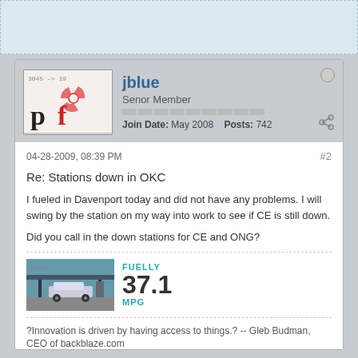jblue
Senor Member
Join Date: May 2008   Posts: 742
04-28-2009, 08:39 PM
#2
Re: Stations down in OKC
I fueled in Davenport today and did not have any problems. I will swing by the station on my way into work to see if CE is still down.

Did you call in the down stations for CE and ONG?
[Figure (infographic): Fuelly widget showing a car at a gas station with FUELLY label, 37.1 MPG statistic]
?Innovation is driven by having access to things.? -- Gleb Budman, CEO of backblaze.com